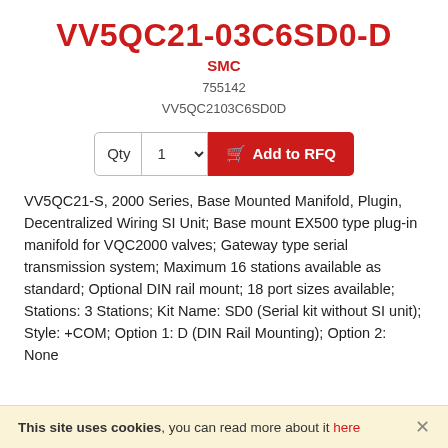VV5QC21-03C6SD0-D
SMC
755142
VV5QC2103C6SD0D
VV5QC21-S, 2000 Series, Base Mounted Manifold, Plugin, Decentralized Wiring SI Unit; Base mount EX500 type plug-in manifold for VQC2000 valves; Gateway type serial transmission system; Maximum 16 stations available as standard; Optional DIN rail mount; 18 port sizes available; Stations: 3 Stations; Kit Name: SD0 (Serial kit without SI unit); Style: +COM; Option 1: D (DIN Rail Mounting); Option 2: None
This site uses cookies, you can read more about it here